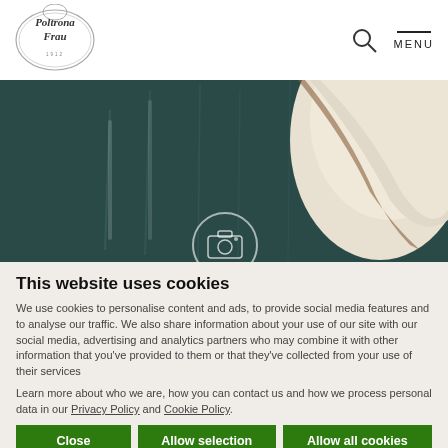[Figure (logo): Poltrona Frau logo - oval ornate frame with text]
[Figure (photo): Close-up of a dark teal/green textured carpet or fabric with a cream-colored leather chair visible on the right side, with a camera icon overlay in the center]
This website uses cookies
We use cookies to personalise content and ads, to provide social media features and to analyse our traffic. We also share information about your use of our site with our social media, advertising and analytics partners who may combine it with other information that you've provided to them or that they've collected from your use of their services
Learn more about who we are, how you can contact us and how we process personal data in our Privacy Policy and Cookie Policy.
Close | Allow selection | Allow all cookies
✓ Necessary  □ Preferences  □ Statistics  □ Marketing  Show details ∨